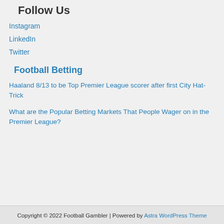Follow Us
Instagram
LinkedIn
Twitter
Football Betting
Haaland 8/13 to be Top Premier League scorer after first City Hat-Trick
What are the Popular Betting Markets That People Wager on in the Premier League?
Copyright © 2022 Football Gambler | Powered by Astra WordPress Theme